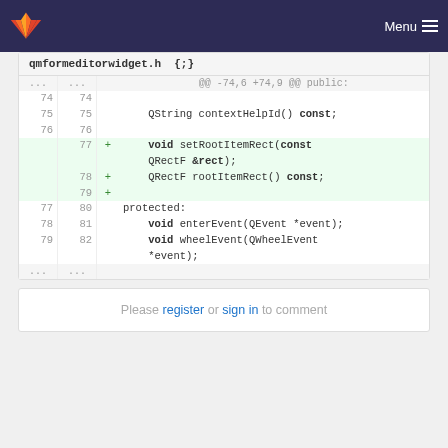GitLab navigation bar with logo and Menu button
qmformeditorwidget.h {;}
[Figure (screenshot): Code diff view showing added lines 77-79 in qmformeditorwidget.h: void setRootItemRect(const QRectF &rect); QRectF rootItemRect() const; and a blank added line, plus context lines 74-76 and 77-82 showing protected: void enterEvent(QEvent *event); void wheelEvent(QWheelEvent *event);]
Please register or sign in to comment